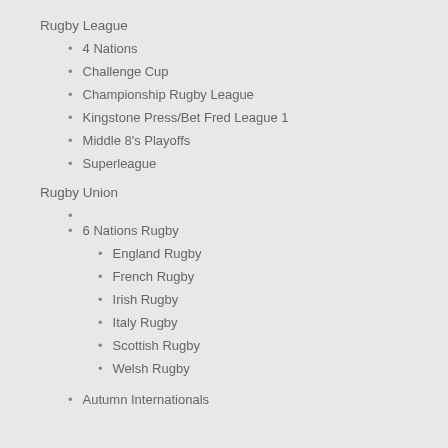Rugby League
4 Nations
Challenge Cup
Championship Rugby League
Kingstone Press/Bet Fred League 1
Middle 8's Playoffs
Superleague
Rugby Union
6 Nations Rugby
England Rugby
French Rugby
Irish Rugby
Italy Rugby
Scottish Rugby
Welsh Rugby
Autumn Internationals